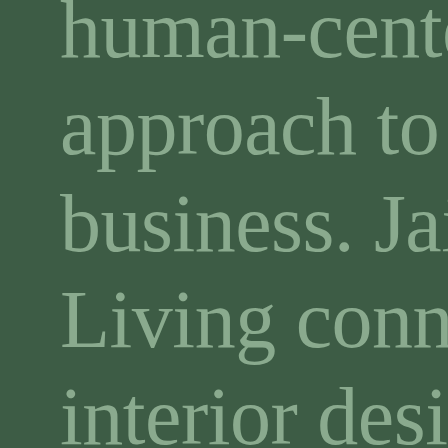human-centered approach to business. Jaipur Living connects interior designers to artisans